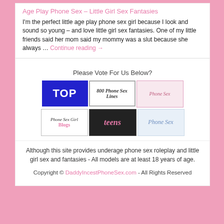Age Play Phone Sex – Little Girl Sex Fantasies
I'm the perfect little age play phone sex girl because I look and sound so young – and love little girl sex fantasies. One of my little friends said her mom said my mommy was a slut because she always … Continue reading →
Please Vote For Us Below?
[Figure (other): Six banner images for voting: TOP (blue background), 800 Phone Sex Lines, Phone Sex (pink border with woman), Phone Sex Girl Blogs, Teens (dark background), Phone Sex (blue tones)]
Although this site provides underage phone sex roleplay and little girl sex and fantasies - All models are at least 18 years of age.
Copyright © DaddyIncestPhoneSex.com - All Rights Reserved